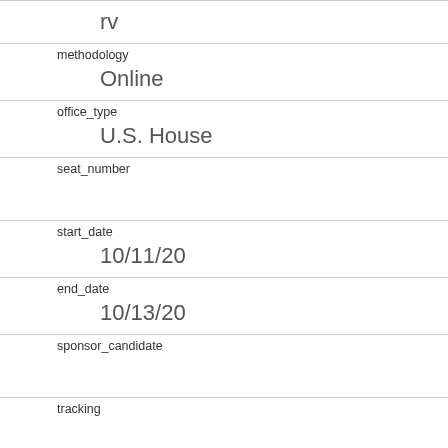| rv |  |
| methodology | Online |
| office_type | U.S. House |
| seat_number |  |
| start_date | 10/11/20 |
| end_date | 10/13/20 |
| sponsor_candidate |  |
| tracking |  |
| nationwide_batch | 0 |
| created_at | 10/14/20 09:56 |
| notes |  |